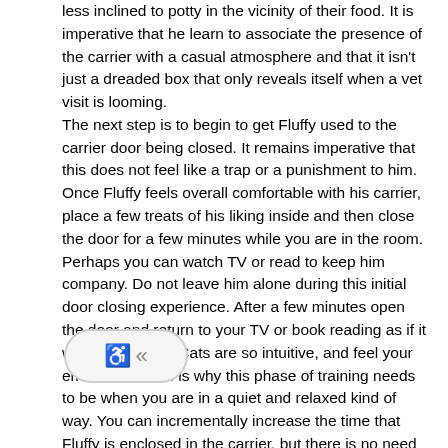less inclined to potty in the vicinity of their food. It is imperative that he learn to associate the presence of the carrier with a casual atmosphere and that it isn't just a dreaded box that only reveals itself when a vet visit is looming. The next step is to begin to get Fluffy used to the carrier door being closed. It remains imperative that this does not feel like a trap or a punishment to him. Once Fluffy feels overall comfortable with his carrier, place a few treats of his liking inside and then close the door for a few minutes while you are in the room. Perhaps you can watch TV or read to keep him company. Do not leave him alone during this initial door closing experience. After a few minutes open the door and return to your TV or book reading as if it was no big deal. Cats are so intuitive, and feel your emotions so this is why this phase of training needs to be when you are in a quiet and relaxed kind of way. You can incrementally increase the time that Fluffy is enclosed in the carrier, but there is no need to make it too long. It is not a marathon; therefore a short amount of time will suffice. It is more about the positive exposure than the length of time. Once Fluffy seems accustomed to the experience, try to leave the room for a couple minutes and upon your return, give him another treat. If Fluffy is not very food motivated, find a treat that he really likes, or alternatively as mentioned earlier, place the carrier near Fluffy's dining area. This has been quite successful for many people. The next step is to repeat the treats and door closure, but then take Fluffy for a little ride in the carrier and walk him about the house. Afterward, place him